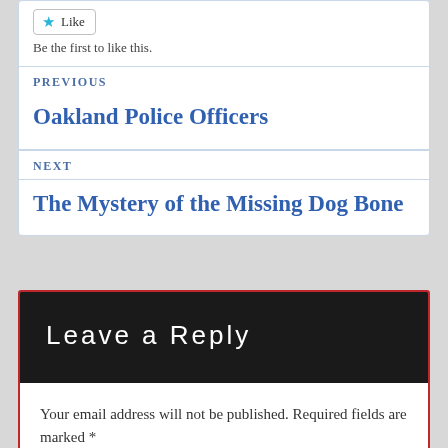Like
Be the first to like this.
PREVIOUS
Oakland Police Officers
NEXT
The Mystery of the Missing Dog Bone
Leave a Reply
Your email address will not be published. Required fields are marked *